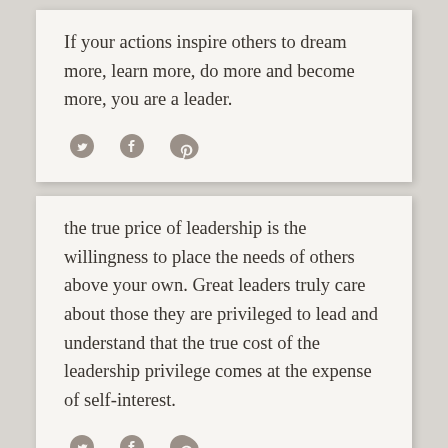If your actions inspire others to dream more, learn more, do more and become more, you are a leader.
[Figure (infographic): Social share icons: Twitter bird, Facebook f, Pinterest p in gray]
the true price of leadership is the willingness to place the needs of others above your own. Great leaders truly care about those they are privileged to lead and understand that the true cost of the leadership privilege comes at the expense of self-interest.
[Figure (infographic): Social share icons: Twitter bird, Facebook f, Pinterest p in gray]